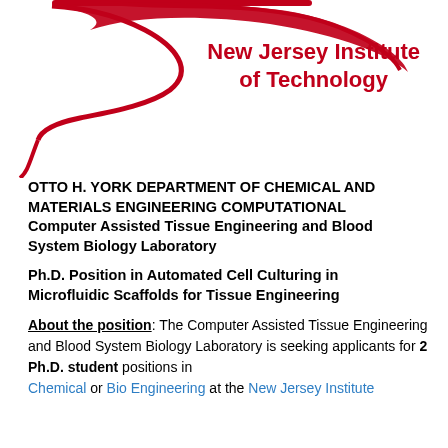[Figure (logo): New Jersey Institute of Technology logo with red swoosh/bird graphic and bold red text reading 'New Jersey Institute of Technology']
OTTO H. YORK DEPARTMENT OF CHEMICAL AND MATERIALS ENGINEERING COMPUTATIONAL Computer Assisted Tissue Engineering and Blood System Biology Laboratory
Ph.D. Position in Automated Cell Culturing in Microfluidic Scaffolds for Tissue Engineering
About the position: The Computer Assisted Tissue Engineering and Blood System Biology Laboratory is seeking applicants for 2 Ph.D. student positions in Chemical or Bio Engineering at the New Jersey Institute